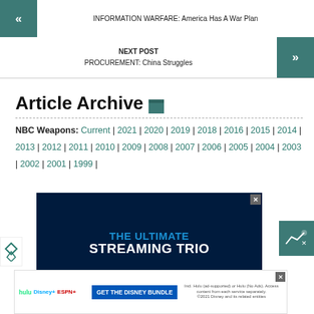« INFORMATION WARFARE: America Has A War Plan
NEXT POST
PROCUREMENT: China Struggles
Article Archive
NBC Weapons: Current | 2021 | 2020 | 2019 | 2018 | 2016 | 2015 | 2014 | 2013 | 2012 | 2011 | 2010 | 2009 | 2008 | 2007 | 2006 | 2005 | 2004 | 2003 | 2002 | 2001 | 1999 |
[Figure (other): Advertisement banner: THE ULTIMATE STREAMING TRIO - Disney Bundle ad with Hulu, Disney+, ESPN+]